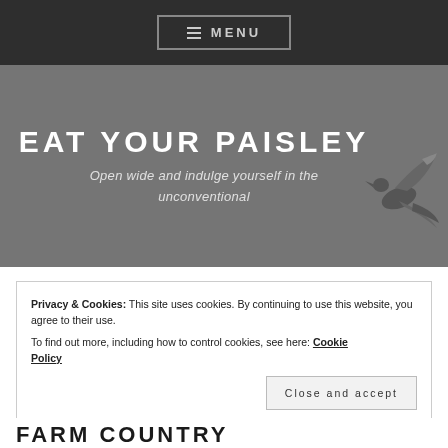≡ MENU
EAT YOUR PAISLEY
Open wide and indulge yourself in the unconventional
Privacy & Cookies: This site uses cookies. By continuing to use this website, you agree to their use.
To find out more, including how to control cookies, see here: Cookie Policy
Close and accept
FARM COUNTRY